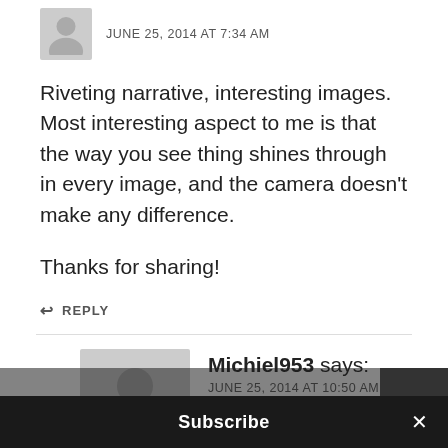JUNE 25, 2014 AT 7:34 AM
Riveting narrative, interesting images. Most interesting aspect to me is that the way you see thing shines through in every image, and the camera doesn't make any difference.

Thanks for sharing!
↩ REPLY
Michiel953 says:
JUNE 25, 2014 AT 10:50 AM
“The way you see things”…
Subscribe  ×